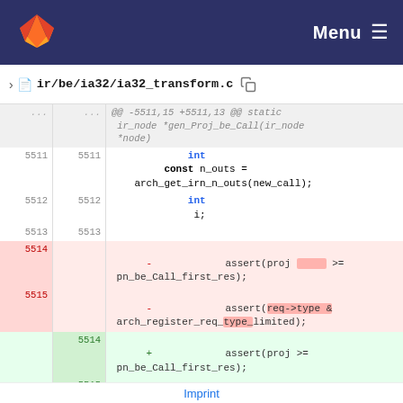Menu ☰  (GitLab navigation bar)
ir/be/ia32/ia32_transform.c
@@ -5511,15 +5511,13 @@ static ir_node *gen_Proj_be_Call(ir_node *node)
5511 5511   int
         const n_outs =
         arch_get_irn_n_outs(new_call);
5512 5512   int
              i;
5513 5513
5514  -     assert(proj [highlighted] >= pn_be_Call_first_res);
5515  -     assert(req->type & arch_register_req_type_limited);
5514 +   assert(proj >= pn_be_Call_first_res);
5515 +   assert(arch_register_req_is(req,
              limited));
Imprint